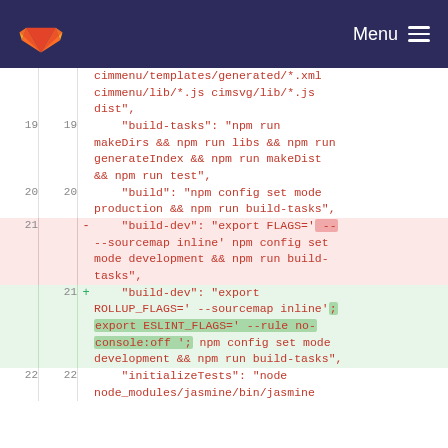GitLab — Menu
[Figure (screenshot): GitLab diff view showing changes to package.json build scripts. Lines 19-22 visible with line numbers. Line 21 shows a removed line (red background) with 'build-dev' using FLAGS and a new added line (green background) with 'build-dev' using ROLLUP_FLAGS and ESLINT_FLAGS.]